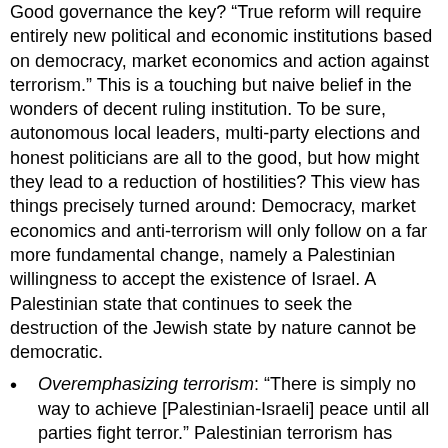Good governance the key? "True reform will require entirely new political and economic institutions based on democracy, market economics and action against terrorism." This is a touching but naive belief in the wonders of decent ruling institution. To be sure, autonomous local leaders, multi-party elections and honest politicians are all to the good, but how might they lead to a reduction of hostilities? This view has things precisely turned around: Democracy, market economics and anti-terrorism will only follow on a far more fundamental change, namely a Palestinian willingness to accept the existence of Israel. A Palestinian state that continues to seek the destruction of the Jewish state by nature cannot be democratic.
Overemphasizing terrorism: "There is simply no way to achieve [Palestinian-Israeli] peace until all parties fight terror." Palestinian terrorism has caused terribly tragedies but it is not the heart of the problem. Terrorism, after all, is but a tactic in the service of a war aim. That war aim -- the destruction of Israel -- is the heart of the problem. For example, it is perfectly possible to imagine a future Palestinian state that does renounce terrorism and instead builds up a conventional force of planes, tanks and ships with which to attack and destroy Israel. Along these lines, it is noteworthy that Rabin did not call on the PA to...